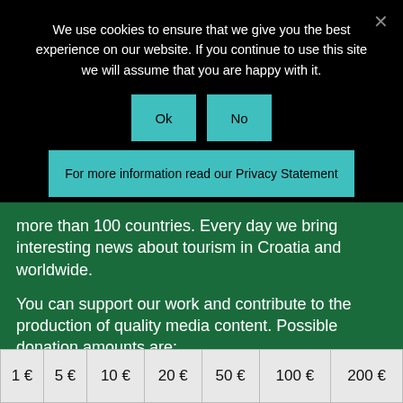We use cookies to ensure that we give you the best experience on our website. If you continue to use this site we will assume that you are happy with it.
Ok   No
For more information read our Privacy Statement
more than 100 countries. Every day we bring interesting news about tourism in Croatia and worldwide.
You can support our work and contribute to the production of quality media content. Possible donation amounts are:
| 1 € | 5 € | 10 € | 20 € | 50 € | 100 € | 200 € |
| --- | --- | --- | --- | --- | --- | --- |